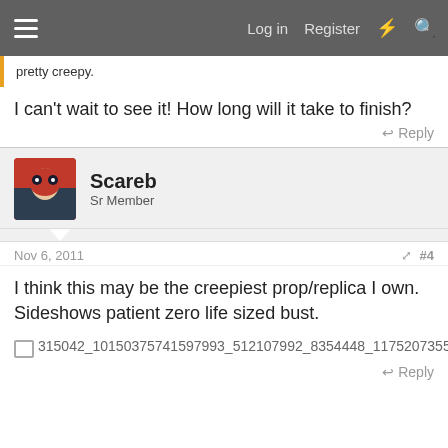Log in  Register
pretty creepy.
I can't wait to see it! How long will it take to finish?
Reply
Scareb
Sr Member
Nov 6, 2011  #4
I think this may be the creepiest prop/replica I own. Sideshows patient zero life sized bust.
[Figure (other): Broken image placeholder for file 315042_10150375741597993_512107992_8354448_11752073355_n.jpg]
Reply